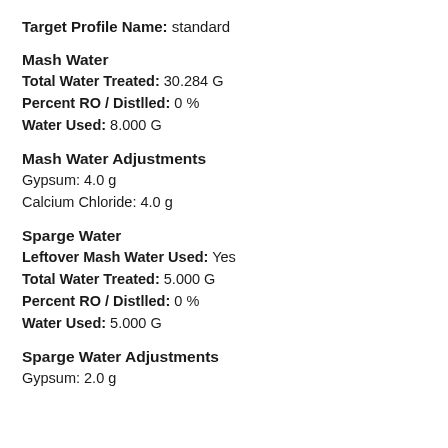Target Profile Name: standard
Mash Water
Total Water Treated: 30.284 G
Percent RO / Distlled: 0 %
Water Used: 8.000 G
Mash Water Adjustments
Gypsum: 4.0 g
Calcium Chloride: 4.0 g
Sparge Water
Leftover Mash Water Used: Yes
Total Water Treated: 5.000 G
Percent RO / Distlled: 0 %
Water Used: 5.000 G
Sparge Water Adjustments
Gypsum: 2.0 g